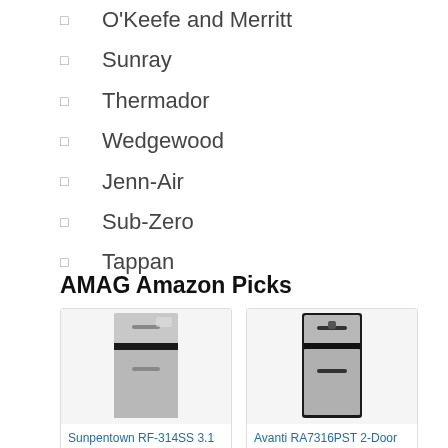O'Keefe and Merritt
Sunray
Thermador
Wedgewood
Jenn-Air
Sub-Zero
Tappan
AMAG Amazon Picks
[Figure (photo): Sunpentown RF-314SS 3.1 cu.ft. Double Door Refrigerator — stainless steel compact refrigerator with freezer on top]
Sunpentown RF-314SS 3.1 cu.ft. Double Door Refriger...
[Figure (photo): Avanti RA7316PST 2-Door Apartment Size Refrigerator — stainless steel with black trim]
Avanti RA7316PST 2-Door Apartment Size Refrigerat...